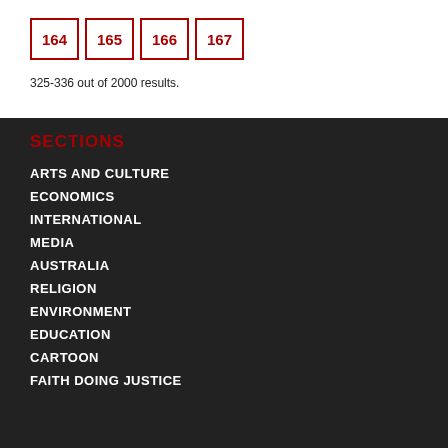164 165 166 167
325-336 out of 2000 results.
SECTIONS
ARTS AND CULTURE
ECONOMICS
INTERNATIONAL
MEDIA
AUSTRALIA
RELIGION
ENVIRONMENT
EDUCATION
CARTOON
FAITH DOING JUSTICE